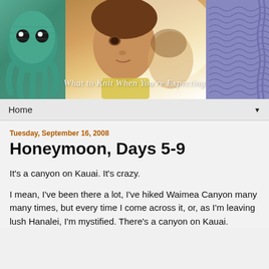[Figure (photo): Blog header banner showing three photos side by side: a teal knitted octopus toy on the left, a young child's face in the center, and a purple knitted garment on the right. Text overlay reads 'What to Knit When You're Expecting'.]
Home ▼
Tuesday, September 16, 2008
Honeymoon, Days 5-9
It's a canyon on Kauai. It's crazy.
I mean, I've been there a lot, I've hiked Waimea Canyon many many times, but every time I come across it, or, as I'm leaving lush Hanalei, I'm mystified. There's a canyon on Kauai.